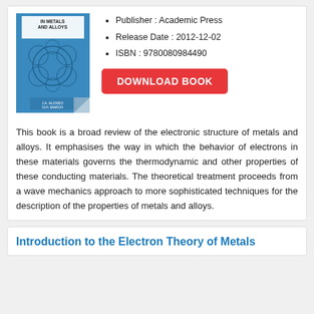[Figure (photo): Book cover for a text about electronic structure in metals and alloys, blue cover with geometric pattern, authors J.A. Alonso and N.H. March]
Publisher : Academic Press
Release Date : 2012-12-02
ISBN : 9780080984490
[Figure (other): Red download button labeled DOWNLOAD BOOK]
This book is a broad review of the electronic structure of metals and alloys. It emphasises the way in which the behavior of electrons in these materials governs the thermodynamic and other properties of these conducting materials. The theoretical treatment proceeds from a wave mechanics approach to more sophisticated techniques for the description of the properties of metals and alloys.
Introduction to the Electron Theory of Metals